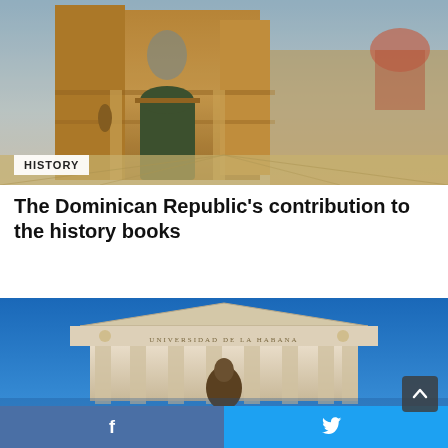[Figure (photo): HDR photograph of a historic stone cathedral or church building, warm golden-brown tones, ornate facade with arched doorway, statues, courtyard with geometric paving.]
HISTORY
The Dominican Republic’s contribution to the history books
[Figure (photo): Photograph of the Universidad de La Habana building facade, neoclassical architecture with columns and pediment, blue sky background, bronze bust statue in foreground.]
f
🐦